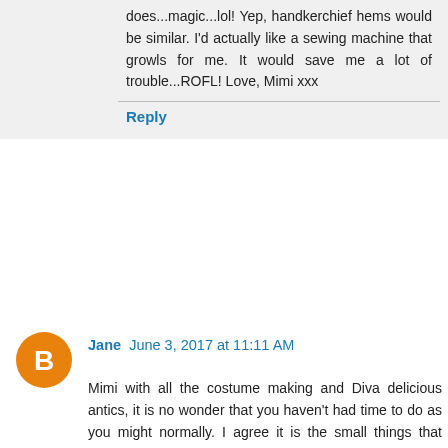does...magic...lol! Yep, handkerchief hems would be similar. I'd actually like a sewing machine that growls for me. It would save me a lot of trouble...ROFL! Love, Mimi xxx
Reply
Jane  June 3, 2017 at 11:11 AM
Mimi with all the costume making and Diva delicious antics, it is no wonder that you haven't had time to do as you might normally. I agree it is the small things that make our homes our havens. Now you have a reason that your home is not looking it's usual self, I don't. I just stopped last week. I don't know why I just did. I felt like quite ungrateful on so many levels. I got myself into such a mood and I was not a nice person. Off to the beach I did go to run away from home and the mess. I walked with my little dog on the warm sand and paddled in the chilly water. I picked up shells and put the pretty ones in my pocket. I came home and it would appear the sea breeze took the horrid me away and I came home my nice self. I had a sleep over at